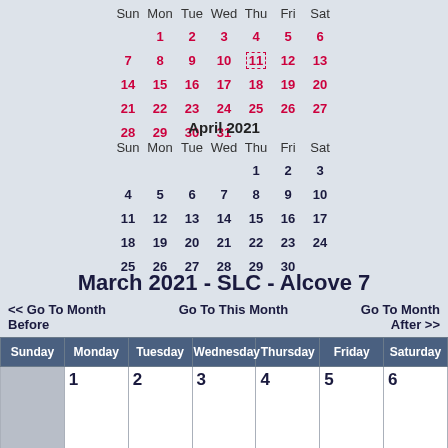| Sun | Mon | Tue | Wed | Thu | Fri | Sat |
| --- | --- | --- | --- | --- | --- | --- |
|  | 1 | 2 | 3 | 4 | 5 | 6 |
| 7 | 8 | 9 | 10 | 11 | 12 | 13 |
| 14 | 15 | 16 | 17 | 18 | 19 | 20 |
| 21 | 22 | 23 | 24 | 25 | 26 | 27 |
| 28 | 29 | 30 | 31 |  |  |  |
April 2021
| Sun | Mon | Tue | Wed | Thu | Fri | Sat |
| --- | --- | --- | --- | --- | --- | --- |
|  |  |  |  | 1 | 2 | 3 |
| 4 | 5 | 6 | 7 | 8 | 9 | 10 |
| 11 | 12 | 13 | 14 | 15 | 16 | 17 |
| 18 | 19 | 20 | 21 | 22 | 23 | 24 |
| 25 | 26 | 27 | 28 | 29 | 30 |  |
March 2021 - SLC - Alcove 7
<< Go To Month Before    Go To This Month    Go To Month After >>
| Sunday | Monday | Tuesday | Wednesday | Thursday | Friday | Saturday |
| --- | --- | --- | --- | --- | --- | --- |
|  | 1 | 2 | 3 | 4 | 5 | 6 |
| 7 | 8 | 9 | 10 | 11 | 12 | 13 |